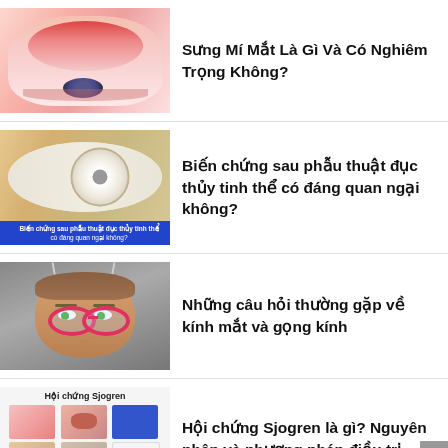[Figure (photo): Close-up photo of a swollen, red eyelid]
Sưng Mí Mắt Là Gì Và Có Nghiêm Trọng Không?
[Figure (photo): Close-up of an eye with cataract (cloudy lens), with a blue banner caption reading 'Biến chứng sau phẫu thuật đục thủy tinh thể']
Biến chứng sau phẫu thuật đục thủy tinh thể có đáng quan ngại không?
[Figure (photo): Child with red-framed glasses looking up, gray background]
Những câu hỏi thường gặp về kính mắt và gọng kính
[Figure (infographic): Infographic titled 'Hội chứng Sjogren' showing grid of medical images including red eye, mouth, skin, and blue cell]
Hội chứng Sjogren là gì? Nguyên nhân và phương pháp điều trị